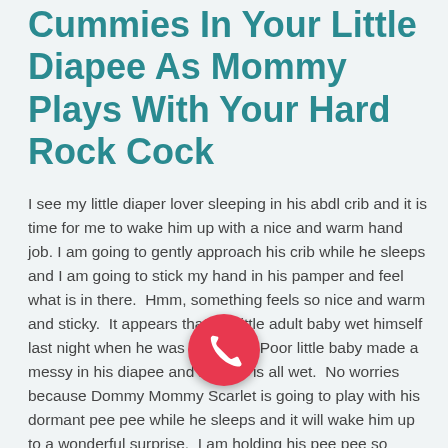Cummies In Your Little Diapee As Mommy Plays With Your Hard Rock Cock
I see my little diaper lover sleeping in his abdl crib and it is time for me to wake him up with a nice and warm hand job. I am going to gently approach his crib while he sleeps and I am going to stick my hand in his pamper and feel what is in there.  Hmm, something feels so nice and warm and sticky.  It appears that my little adult baby wet himself last night when he was sleeping.  Poor little baby made a messy in his diapee and now he is all wet.  No worries because Dommy Mommy Scarlet is going to play with his dormant pee pee while he sleeps and it will wake him up to a wonderful surprise.  I am holding his pee pee so gently as I rub it back and forth and it is slowly growing in my hand.  Oh my, it looks as it woke up my little abdl baby and he is so happy and smiling.  Mommy is going to play with it a little harder now and I can see cummies on my fingers as my baby moans and groans in pleasure.  His balls are beginning to stiffen and his erect cock is